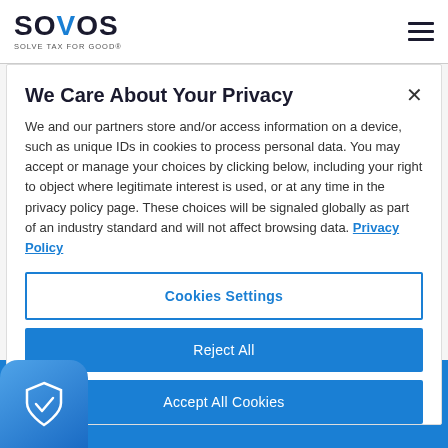SOVOS — SOLVE TAX FOR GOOD®
We Care About Your Privacy
We and our partners store and/or access information on a device, such as unique IDs in cookies to process personal data. You may accept or manage your choices by clicking below, including your right to object where legitimate interest is used, or at any time in the privacy policy page. These choices will be signaled globally as part of an industry standard and will not affect browsing data. Privacy Policy
Cookies Settings
Reject All
Accept All Cookies